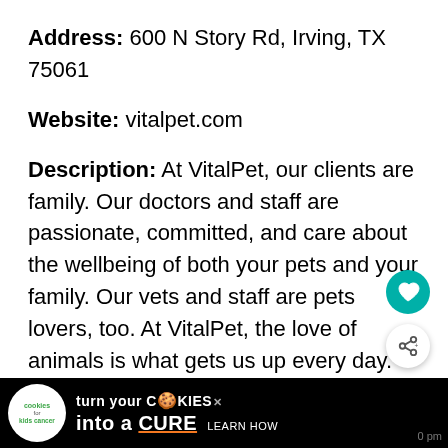Address: 600 N Story Rd, Irving, TX 75061
Website: vitalpet.com
Description: At VitalPet, our clients are family. Our doctors and staff are passionate, committed, and care about the wellbeing of both your pets and your family. Our vets and staff are pets lovers, too. At VitalPet, the love of animals is what gets us up every day.
Hours of Operation:
[Figure (other): Advertisement banner: 'turn your COOKIES into a CURE LEARN HOW' with Cookies for Kids Cancer logo]
[Figure (other): Teal circular button with heart icon (favorite/save button)]
[Figure (other): White circular button with share icon]